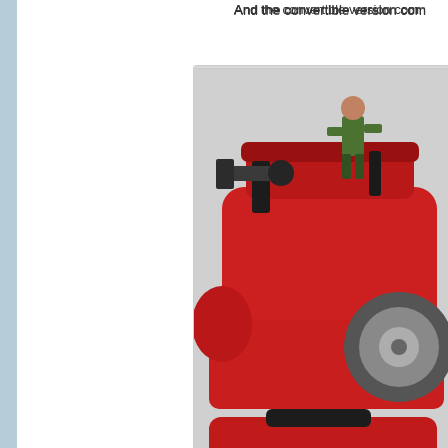And the convertible version com
[Figure (photo): Red toy convertible truck with an action figure standing in the open top, and an open trunk compartment revealing black equipment. Watermark reads http://jomitoys.blogsp]
Number 2, that truck in "Termina this purchase worthwhile.
[Figure (photo): Partial view of a second toy or image, gray background visible]